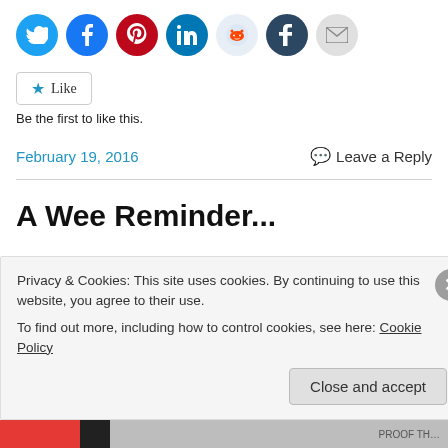[Figure (infographic): Row of social sharing icon circles: Twitter (blue), Facebook (blue), Pinterest (red), LinkedIn (teal), Reddit (light blue), Tumblr (dark blue), Email (gray)]
[Figure (infographic): Like button with star icon and 'Like' label, followed by text 'Be the first to like this.']
Be the first to like this.
February 19, 2016
Leave a Reply
A Wee Reminder...
Privacy & Cookies: This site uses cookies. By continuing to use this website, you agree to their use.
To find out more, including how to control cookies, see here: Cookie Policy